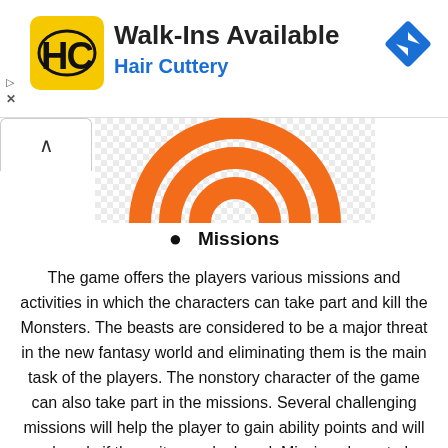[Figure (infographic): Advertisement banner for Hair Cuttery: HC logo on yellow background, text 'Walk-Ins Available' and 'Hair Cuttery' in blue, blue diamond navigation icon on right, play and close (X) icons on left.]
[Figure (illustration): Partial orange concentric circular arcs on checkered/transparent background, cropped at top.]
Missions
The game offers the players various missions and activities in which the characters can take part and kill the Monsters. The beasts are considered to be a major threat in the new fantasy world and eliminating them is the main task of the players. The nonstory character of the game can also take part in the missions. Several challenging missions will help the player to gain ability points and will apply only if the units are deployed. Missions have to be completed by the player within specific time duration and the period will be specified in the description